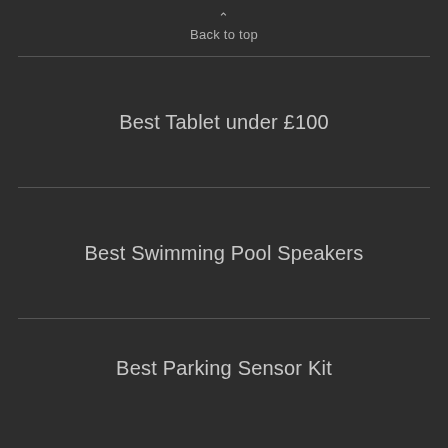Back to top
Best Tablet under £100
Best Swimming Pool Speakers
Best Parking Sensor Kit